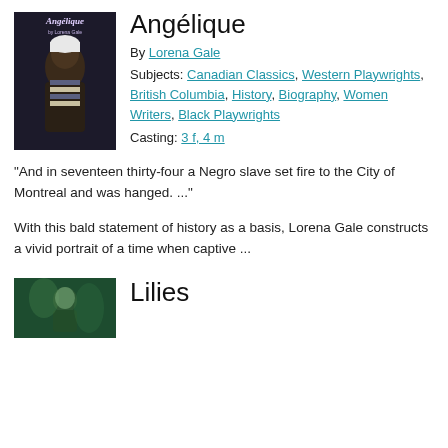[Figure (illustration): Book cover of 'Angélique by Lorena Gale' showing a dark-skinned figure in blue and white clothing against a dark background]
Angélique
By Lorena Gale
Subjects: Canadian Classics, Western Playwrights, British Columbia, History, Biography, Women Writers, Black Playwrights
Casting: 3 f, 4 m
"And in seventeen thirty-four a Negro slave set fire to the City of Montreal and was hanged. ..."
With this bald statement of history as a basis, Lorena Gale constructs a vivid portrait of a time when captive ...
[Figure (illustration): Book cover of 'Lilies' showing a figure in green tones]
Lilies